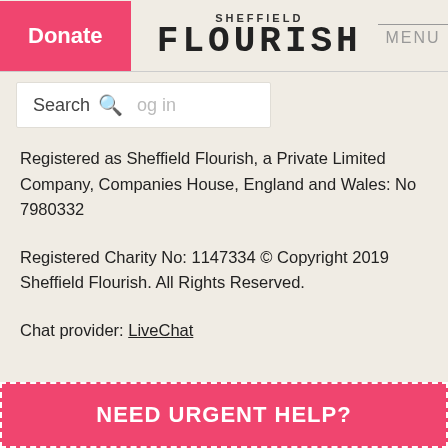Donate | SHEFFIELD FLOURISH | MENU
Search  og in
Registered as Sheffield Flourish, a Private Limited Company, Companies House, England and Wales: No 7980332
Registered Charity No: 1147334 © Copyright 2019 Sheffield Flourish. All Rights Reserved.
Chat provider: LiveChat
NEED URGENT HELP?